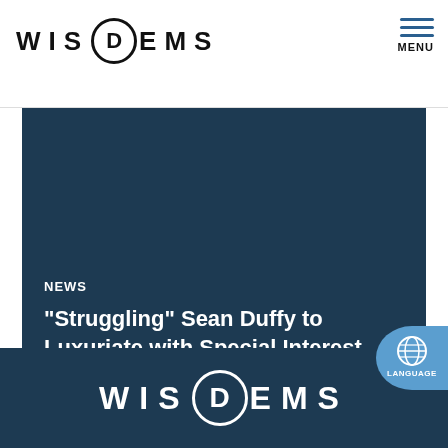WIS D EMS  MENU
NEWS
"Struggling" Sean Duffy to Luxuriate with Special Interest Campaign Donors at Event for Tea Party Elite
[Figure (logo): WISDEMS logo with Democratic Party circle-D emblem, white text on dark blue background, footer area]
LANGUAGE